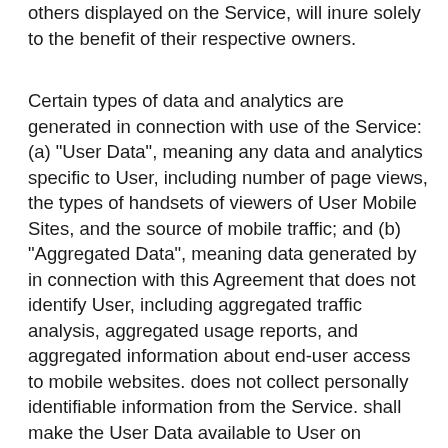others displayed on the Service, will inure solely to the benefit of their respective owners.
Certain types of data and analytics are generated in connection with use of the Service: (a) "User Data", meaning any data and analytics specific to User, including number of page views, the types of handsets of viewers of User Mobile Sites, and the source of mobile traffic; and (b) "Aggregated Data", meaning data generated by in connection with this Agreement that does not identify User, including aggregated traffic analysis, aggregated usage reports, and aggregated information about end-user access to mobile websites. does not collect personally identifiable information from the Service. shall make the User Data available to User on reviews.m2p2.com via a secured account and login in provided by . As between User and and to the extent permitted by law: (i) User owns and retains all rights to User Data, and shall use User Data only for the purposes of this Agreement; and (ii) owns and retains all rights to Aggregated Data. You agree, and represent and warrant,